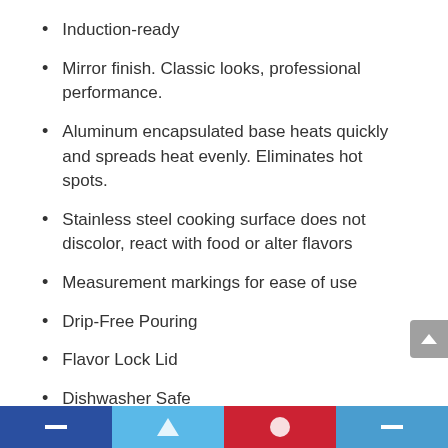Induction-ready
Mirror finish. Classic looks, professional performance.
Aluminum encapsulated base heats quickly and spreads heat evenly. Eliminates hot spots.
Stainless steel cooking surface does not discolor, react with food or alter flavors
Measurement markings for ease of use
Drip-Free Pouring
Flavor Lock Lid
Dishwasher Safe
Lifetime Warranty